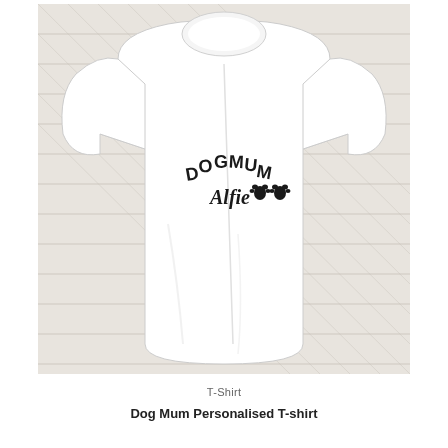[Figure (photo): A white t-shirt laid flat on a white wooden surface. The shirt has 'DOG MUM' printed in arched black text and 'Alfie' in cursive script below it, followed by two black paw print icons, on the left chest area.]
T-Shirt
Dog Mum Personalised T-shirt